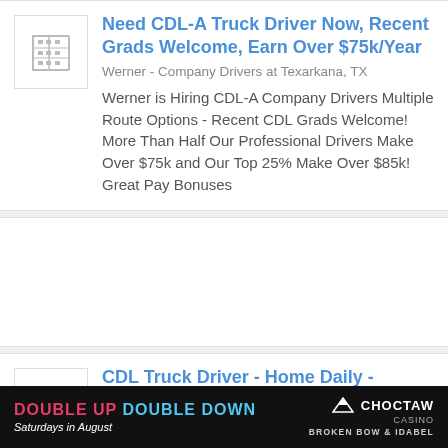Need CDL-A Truck Driver Now, Recent Grads Welcome, Earn Over $75k/Year
Werner - Company Drivers at Texarkana, TX
Werner is Hiring CDL-A Company Drivers Multiple Route Options - Recent CDL Grads Welcome! More Than Half Our Professional Drivers Make Over $75k and Our Top 25% Make Over $85k! Great Pay Bonuses
[Figure (other): Empty card placeholder area]
CDL Truck Driver - Home Daily - Competitive Pay + $5,000 Sign-On
JD &amp; Billy Hines - Local Drivers at
[Figure (other): Choctaw Casino advertisement banner: DOUBLE UP DOUBLE DOWN Saturdays in August, Choctaw Casino Broken Bow & Idabel]